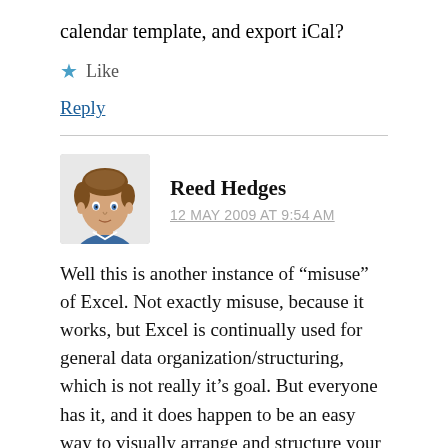calendar template, and export iCal?
Like
Reply
[Figure (illustration): Avatar illustration of Reed Hedges, a cartoon-style drawing of a young man with brown hair wearing a blue shirt]
Reed Hedges
12 MAY 2009 AT 9:54 AM
Well this is another instance of “misuse” of Excel. Not exactly misuse, because it works, but Excel is continually used for general data organization/structuring, which is not really it’s goal. But everyone has it, and it does happen to be an easy way to visually arrange and structure your information. If the Excel designers had been writing a “general information structuring/database” program instead of a number crunching program specifically, having exporters for all kinds of